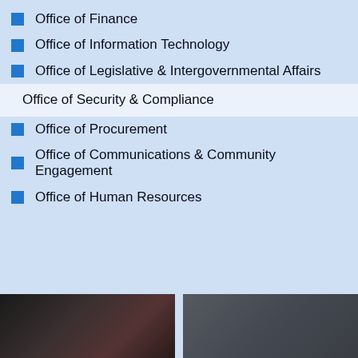Office of Finance
Office of Information Technology
Office of Legislative & Intergovernmental Affairs
Office of Security & Compliance
Office of Procurement
Office of Communications & Community Engagement
Office of Human Resources
[Figure (photo): Two photos at bottom: left shows a smiling person, right shows a person in profile against a dark background]